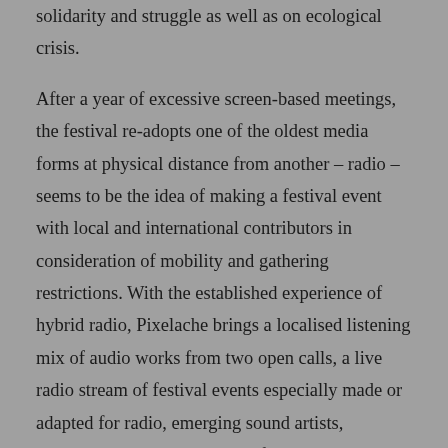solidarity and struggle as well as on ecological crisis. After a year of excessive screen-based meetings, the festival re-adopts one of the oldest media forms at physical distance from another – radio – seems to be the idea of making a festival event with local and international contributors in consideration of mobility and gathering restrictions. With the established experience of hybrid radio, Pixelache brings a localised listening mix of audio works from two open calls, a live radio stream of festival events especially made or adapted for radio, emerging sound artists, podcasts, and interviews with festival artists and contributors. During the festival, the public can interact with a local FM radio broadcasting around Oodi. Bring Your Own Radio (BYOR) to listen, and if you like a blanket or picnic!